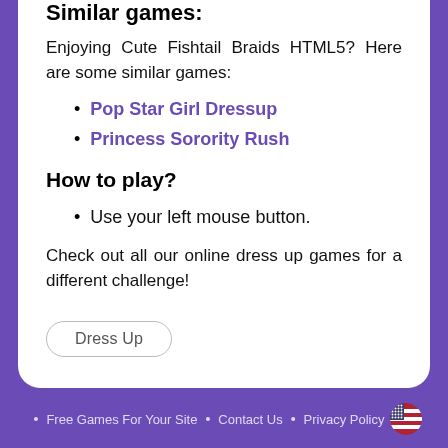Similar games:
Enjoying Cute Fishtail Braids HTML5? Here are some similar games:
Pop Star Girl Dressup
Princess Sorority Rush
How to play?
Use your left mouse button.
Check out all our online dress up games for a different challenge!
Dress Up
• Free Games For Your Site   • Contact Us   • Privacy Policy